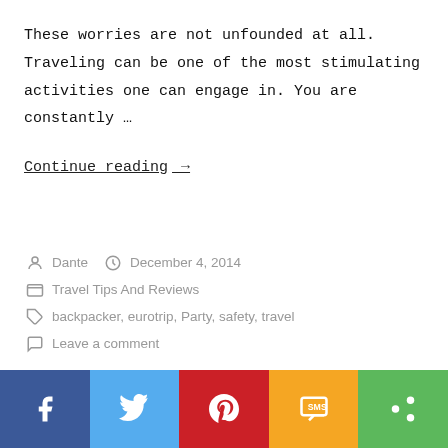These worries are not unfounded at all. Traveling can be one of the most stimulating activities one can engage in. You are constantly …
Continue reading →
Dante   December 4, 2014
Travel Tips And Reviews
backpacker, eurotrip, Party, safety, travel
Leave a comment
[Figure (infographic): Social sharing bar with five buttons: Facebook (blue), Twitter (light blue), Pinterest (red), SMS (orange/yellow), Share (green)]